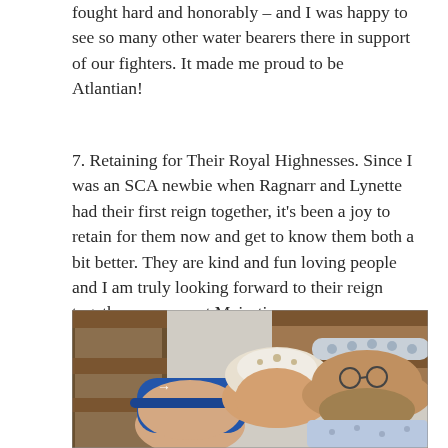fought hard and honorably – and I was happy to see so many other water bearers there in support of our fighters. It made me proud to be Atlantian!
7. Retaining for Their Royal Highnesses. Since I was an SCA newbie when Ragnarr and Lynette had their first reign together, it's been a joy to retain for them now and get to know them both a bit better. They are kind and fun loving people and I am truly looking forward to their reign together as our next Majesties.
[Figure (photo): A photograph of three people sitting together outdoors near wooden fence/bench. On the left is a person wearing a blue cap and medieval-style clothing. In the center is a woman wearing a white veil/headpiece. On the right is a man wearing a light blue floral patterned garment and a silver/white circlet headpiece, with a beard.]